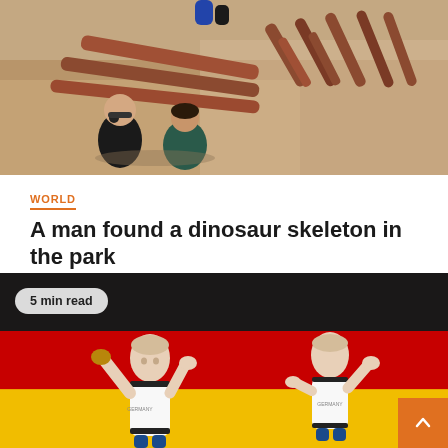[Figure (photo): Aerial view of people examining large dinosaur bones/fossils embedded in rock at an excavation site]
WORLD
A man found a dinosaur skeleton in the park
August 28, 2022   Jabori Obasanjo
[Figure (illustration): Illustration of cartoon bald figures in white sports jerseys against a German flag background (black, red, gold stripes), with a '5 min read' badge overlay and orange scroll-to-top button]